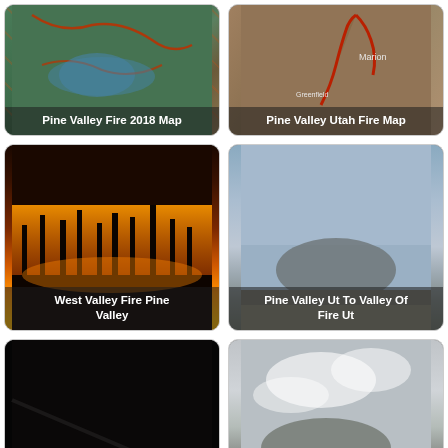[Figure (map): Satellite map with green terrain and blue lake, red fire perimeter lines overlay. Caption: Pine Valley Fire 2018 Map]
[Figure (map): Satellite map with brown/tan terrain, red line indicating fire or road path. Caption: Pine Valley Utah Fire Map]
[Figure (photo): Forest fire at night/dusk with orange and yellow flames illuminating silhouetted trees. Caption: West Valley Fire Pine Valley]
[Figure (photo): Hazy smoky landscape with mountain/hill silhouette under blue-grey sky. Caption: Pine Valley Ut To Valley Of Fire Ut]
[Figure (photo): Dark nighttime image with glowing orange fire embers or flames at bottom. Caption: West Valley Fire Utah Pine]
[Figure (photo): Smoky mountain landscape with white/grey clouds of smoke obscuring terrain. Caption: West Valley Fire Pine]